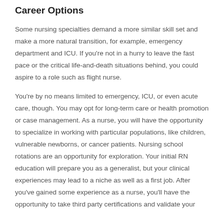Career Options
Some nursing specialties demand a more similar skill set and make a more natural transition, for example, emergency department and ICU. If you're not in a hurry to leave the fast pace or the critical life-and-death situations behind, you could aspire to a role such as flight nurse.
You're by no means limited to emergency, ICU, or even acute care, though. You may opt for long-term care or health promotion or case management. As a nurse, you will have the opportunity to specialize in working with particular populations, like children, vulnerable newborns, or cancer patients. Nursing school rotations are an opportunity for exploration. Your initial RN education will prepare you as a generalist, but your clinical experiences may lead to a niche as well as a first job. After you've gained some experience as a nurse, you'll have the opportunity to take third party certifications and validate your